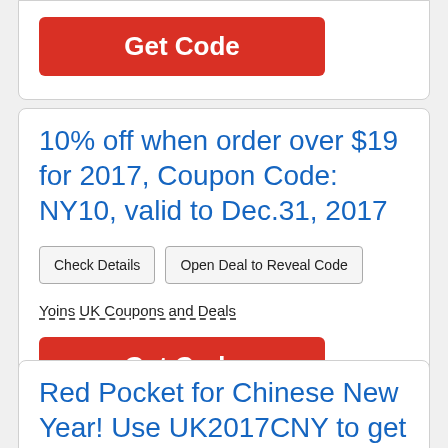[Figure (other): Red 'Get Code' button at top of page (partial card visible)]
10% off when order over $19 for 2017, Coupon Code: NY10, valid to Dec.31, 2017
Check Details | Open Deal to Reveal Code
Yoins UK Coupons and Deals
[Figure (other): Red 'Get Code' button]
Red Pocket for Chinese New Year! Use UK2017CNY to get